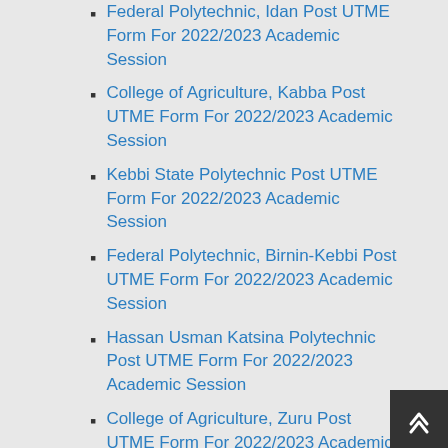Federal Polytechnic, Idan Post UTME Form For 2022/2023 Academic Session
College of Agriculture, Kabba Post UTME Form For 2022/2023 Academic Session
Kebbi State Polytechnic Post UTME Form For 2022/2023 Academic Session
Federal Polytechnic, Birnin-Kebbi Post UTME Form For 2022/2023 Academic Session
Hassan Usman Katsina Polytechnic Post UTME Form For 2022/2023 Academic Session
College of Agriculture, Zuru Post UTME Form For 2022/2023 Academic Session